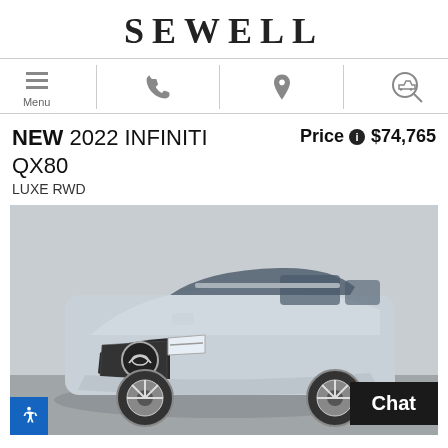SEWELL
[Figure (screenshot): Navigation bar with menu (hamburger icon), phone icon, location pin icon, and car search icon]
NEW 2022 INFINITI QX80
Price $74,765
LUXE RWD
[Figure (photo): Silver 2022 INFINITI QX80 LUXE RWD SUV photographed from front-left angle in a dealership lot]